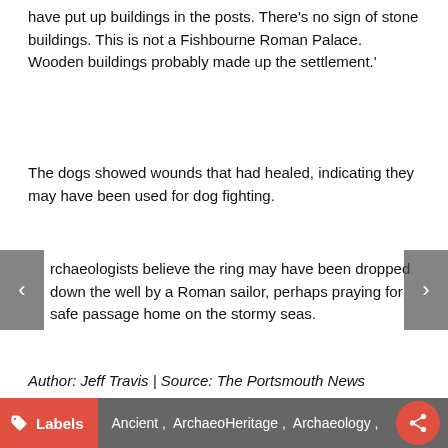have put up buildings in the posts. There's no sign of stone buildings. This is not a Fishbourne Roman Palace. Wooden buildings probably made up the settlement.'
The dogs showed wounds that had healed, indicating they may have been used for dog fighting.
rchaeologists believe the ring may have been dropped down the well by a Roman sailor, perhaps praying for safe passage home on the stormy seas.
Author: Jeff Travis | Source: The Portsmouth News [September 21, 2013]
Labels   Ancient ,  ArchaeoHeritage ,  Archaeology ,